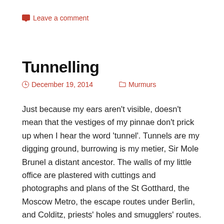Leave a comment
Tunnelling
December 19, 2014   Murmurs
Just because my ears aren't visible, doesn't mean that the vestiges of my pinnae don't prick up when I hear the word 'tunnel'. Tunnels are my digging ground, burrowing is my metier, Sir Mole Brunel a distant ancestor. The walls of my little office are plastered with cuttings and photographs and plans of the St Gotthard, the Moscow Metro, the escape routes under Berlin, and Colditz, priests' holes and smugglers' routes. I made some small contribution to the lore of tunnels myself during the Siege of Toad Hall.